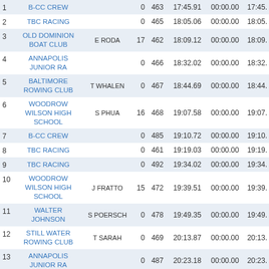| Place | Club | Coxswain | Bow | Entry | Elapsed | Penalty | Adj Time |
| --- | --- | --- | --- | --- | --- | --- | --- |
| 1 | B-CC CREW |  | 0 | 463 | 17:45.91 | 00:00.00 | 17:45. |
| 2 | TBC RACING |  | 0 | 465 | 18:05.06 | 00:00.00 | 18:05. |
| 3 | OLD DOMINION BOAT CLUB | E RODA | 17 | 462 | 18:09.12 | 00:00.00 | 18:09. |
| 4 | ANNAPOLIS JUNIOR RA |  | 0 | 466 | 18:32.02 | 00:00.00 | 18:32. |
| 5 | BALTIMORE ROWING CLUB | T WHALEN | 0 | 467 | 18:44.69 | 00:00.00 | 18:44. |
| 6 | WOODROW WILSON HIGH SCHOOL | S PHUA | 16 | 468 | 19:07.58 | 00:00.00 | 19:07. |
| 7 | B-CC CREW |  | 0 | 485 | 19:10.72 | 00:00.00 | 19:10. |
| 8 | TBC RACING |  | 0 | 461 | 19:19.03 | 00:00.00 | 19:19. |
| 9 | TBC RACING |  | 0 | 492 | 19:34.02 | 00:00.00 | 19:34. |
| 10 | WOODROW WILSON HIGH SCHOOL | J FRATTO | 15 | 472 | 19:39.51 | 00:00.00 | 19:39. |
| 11 | WALTER JOHNSON | S POERSCH | 0 | 478 | 19:49.35 | 00:00.00 | 19:49. |
| 12 | STILL WATER ROWING CLUB | T SARAH | 0 | 469 | 20:13.87 | 00:00.00 | 20:13. |
| 13 | ANNAPOLIS JUNIOR RA |  | 0 | 487 | 20:23.18 | 00:00.00 | 20:23. |
| 14 | WILLIAMSBURG |  | 0 | 473 | 20:41.44 | 00:00.00 | 20:41. |